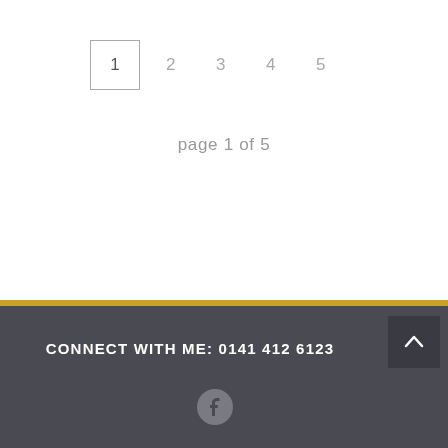1  2  3  4  5
page 1 of 5
CONNECT WITH ME: 0141 412 6123